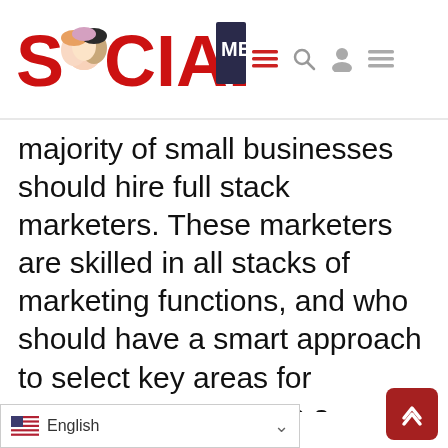SOCIAL ME — website header with logo and navigation icons
majority of small businesses should hire full stack marketers. These marketers are skilled in all stacks of marketing functions, and who should have a smart approach to select key areas for meaningful growth on a minimum budget. While they [mas]ters in all areas,